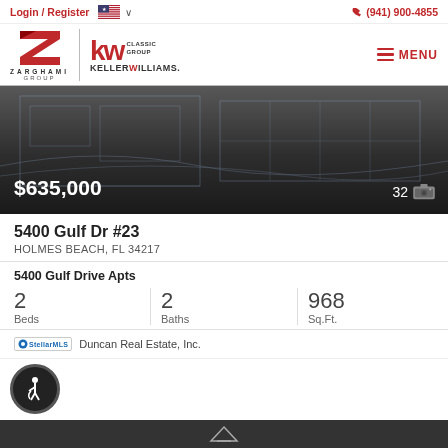Login / Register  🇺🇸 ∨  (941) 900-4855
[Figure (logo): Zarghami Group and Keller Williams Classic Group logo side by side with MENU button]
[Figure (photo): Dark blueprint-style architectural background image with property price $635,000 and photo count 32]
5400 Gulf Dr #23
HOLMES BEACH, FL 34217
5400 Gulf Drive Apts
2 Beds  2 Baths  968 Sq.Ft.
Duncan Real Estate, Inc.